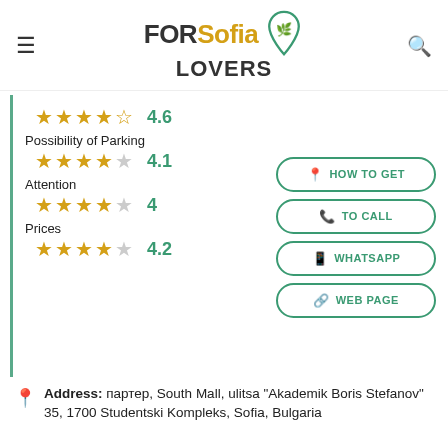FOR Sofia LOVERS
4.6 stars
Possibility of Parking
4.1 stars
Attention
4 stars
Prices
4.2 stars
HOW TO GET
TO CALL
WHATSAPP
WEB PAGE
Address: партер, South Mall, ulitsa "Akademik Boris Stefanov" 35, 1700 Studentski Kompleks, Sofia, Bulgaria